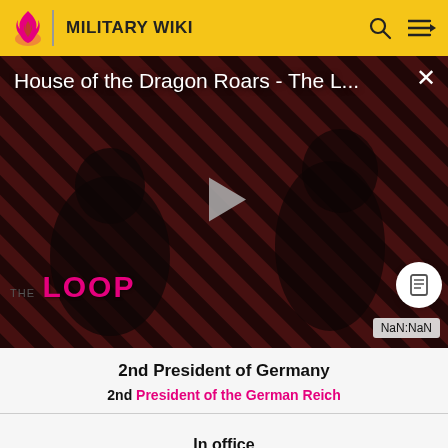MILITARY WIKI
[Figure (screenshot): Video player thumbnail showing 'House of the Dragon Roars - The L...' with THE LOOP branding, play button, close button, and NaN:NaN time indicator on dark striped background]
2nd President of Germany
2nd President of the German Reich
In office
12 May 1925 – 2 August 1934